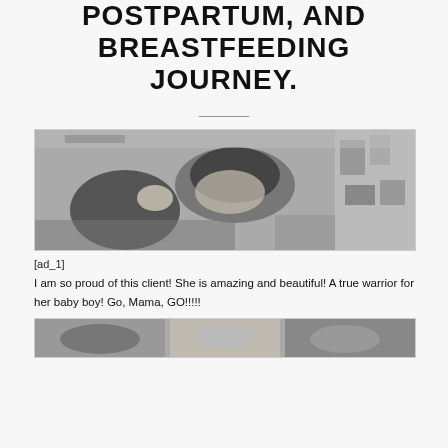POSTPARTUM, AND BREASTFEEDING JOURNEY.
[Figure (photo): Black and white photo of a woman lying in a hospital bed kissing or nuzzling a newborn baby, with medical equipment visible in the background.]
[ad_1]
I am so proud of this client! She is amazing and beautiful! A true warrior for her baby boy! Go, Mama, GO!!!!!
[Figure (photo): Partial view of a second black and white photo at the bottom of the page, cropped.]